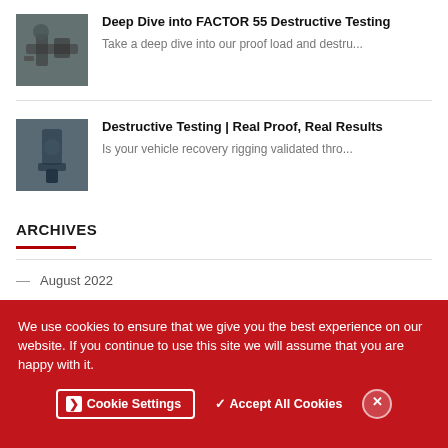[Figure (photo): Person working with mechanical equipment, close-up]
Deep Dive into FACTOR 55 Destructive Testing
Take a deep dive into our proof load and destru...
[Figure (photo): Blue mechanical device or equipment on ground]
Destructive Testing | Real Proof, Real Results
Is your vehicle recovery rigging validated thro...
ARCHIVES
August 2022
May 2022
November 2021
We use cookies to ensure that we give you the best experience on our website. If you continue to use this site we will assume that you are happy with it.